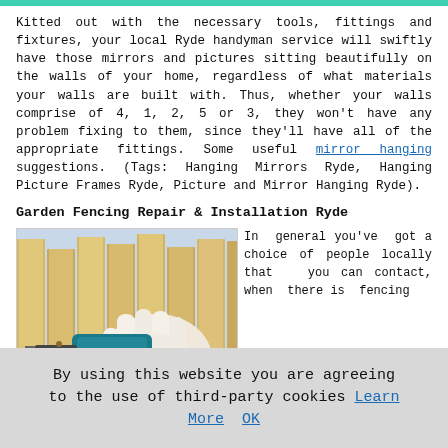Kitted out with the necessary tools, fittings and fixtures, your local Ryde handyman service will swiftly have those mirrors and pictures sitting beautifully on the walls of your home, regardless of what materials your walls are built with. Thus, whether your walls comprise of 4, 1, 2, 5 or 3, they won't have any problem fixing to them, since they'll have all of the appropriate fittings. Some useful mirror hanging suggestions. (Tags: Hanging Mirrors Ryde, Hanging Picture Frames Ryde, Picture and Mirror Hanging Ryde).
Garden Fencing Repair & Installation Ryde
[Figure (photo): Photo of a gloved hand using a power drill on wooden fence planks (garden fencing installation/repair)]
In general you've got a choice of people locally that you can contact, when there is fencing
By using this website you are agreeing to the use of third-party cookies Learn More  OK